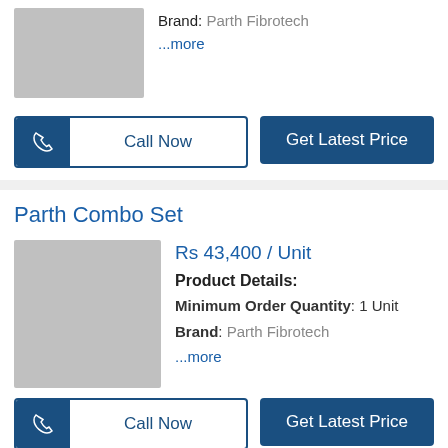Brand: Parth Fibrotech
...more
[Figure (screenshot): Call Now button with phone icon and Get Latest Price button]
Parth Combo Set
[Figure (photo): Product image placeholder (grey box)]
Rs 43,400 / Unit
Product Details:
Minimum Order Quantity: 1 Unit
Brand: Parth Fibrotech
...more
[Figure (screenshot): Call Now button with phone icon and Get Latest Price button]